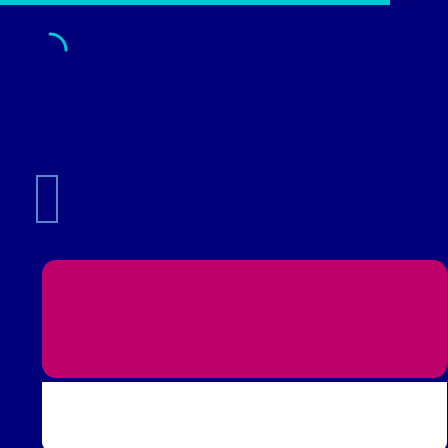[Figure (screenshot): Dark navy blue background with a cyan loading progress bar at the top, a circular loading spinner arc in the top-left, and a small vertical bookmark/rectangle icon on the left side.]
[Figure (screenshot): Pink/magenta rounded search panel with a darker pink rounded search bar containing placeholder text 'Search in resources...' and a search icon on the right.]
Search in resources...